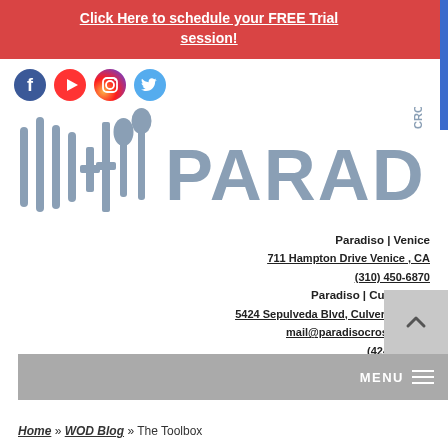Click Here to schedule your FREE Trial session!
[Figure (logo): Social media icons: Facebook (blue), YouTube (red), Instagram (gradient), Twitter (blue)]
[Figure (logo): Paradiso CrossFit logo with vertical bar/paddle graphic and large PARADISO text with CROSSFIT in vertical text on right]
Paradiso | Venice
711 Hampton Drive Venice , CA
(310) 450-6870
Paradiso | Culver City
5424 Sepulveda Blvd, Culver City, CA
mail@paradisocrossfit.com
(424)***-**50
MENU
Home » WOD Blog » The Toolbox